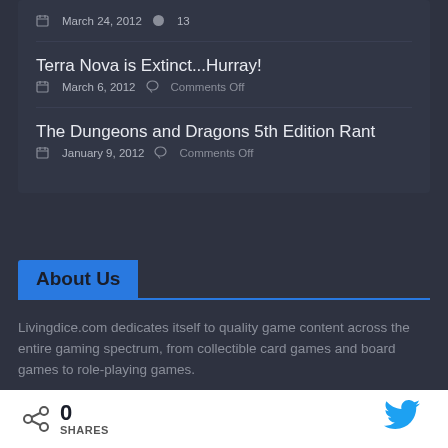March 24, 2012  13
Terra Nova is Extinct...Hurray!
March 6, 2012  Comments Off
The Dungeons and Dragons 5th Edition Rant
January 9, 2012  Comments Off
About Us
Livingdice.com dedicates itself to quality game content across the entire gaming spectrum, from collectible card games and board games to role-playing games.
0 SHARES